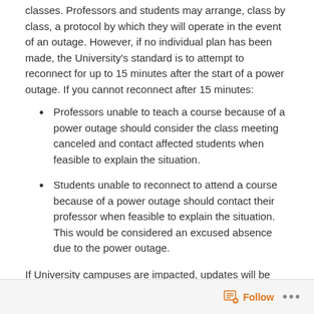classes. Professors and students may arrange, class by class, a protocol by which they will operate in the event of an outage. However, if no individual plan has been made, the University's standard is to attempt to reconnect for up to 15 minutes after the start of a power outage. If you cannot reconnect after 15 minutes:
Professors unable to teach a course because of a power outage should consider the class meeting canceled and contact affected students when feasible to explain the situation.
Students unable to reconnect to attend a course because of a power outage should contact their professor when feasible to explain the situation. This would be considered an excused absence due to the power outage.
If University campuses are impacted, updates will be posted on Pepperdine's Emergency Information Page. Contact the University's Emergency Services at 310.506.4442 or emergencyservices@pepperdine.edu with any questions.
Follow ···